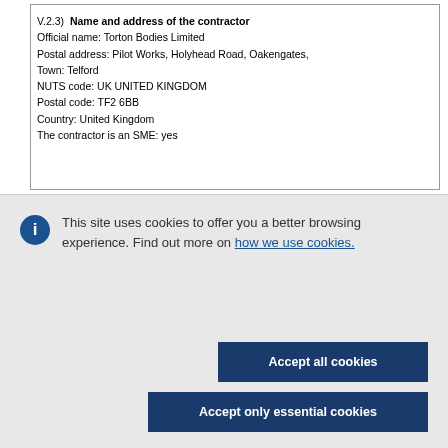V.2.3) Name and address of the contractor
Official name: Torton Bodies Limited
Postal address: Pilot Works, Holyhead Road, Oakengates,
Town: Telford
NUTS code: UK UNITED KINGDOM
Postal code: TF2 6BB
Country: United Kingdom
The contractor is an SME: yes
This site uses cookies to offer you a better browsing experience. Find out more on how we use cookies.